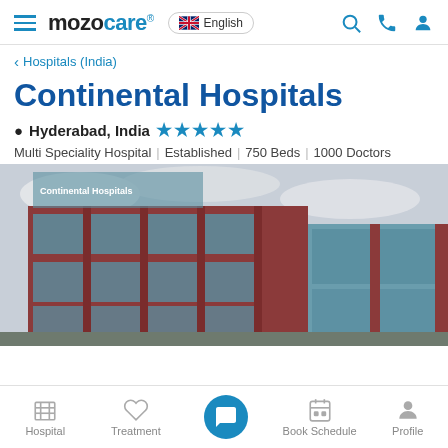mozo care  |  English  |  [search] [phone] [profile]
< Hospitals (India)
Continental Hospitals
Hyderabad, India ★★★★★
Multi Speciality Hospital | Established | 750 Beds | 1000 Doctors
[Figure (photo): Exterior photo of Continental Hospitals building in Hyderabad — a large multi-storey red brick and glass structure]
Hospital  |  Treatment  |  [chat button]  |  Book Schedule  |  Profile